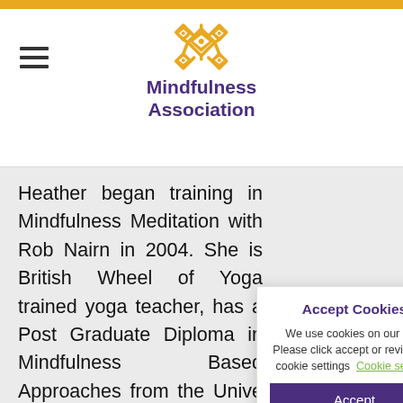Mindfulness Association
Heather began training in Mindfulness Meditation with Rob Nairn in 2004. She is British Wheel of Yoga trained yoga teacher, has a Post Graduate Diploma in Mindfulness Based Approaches from the Unive[rsity...] has a Ma[sters in] Mindfulne[ss from] Aberdeen[...] She is a c[ertified] Mindfulne[ss...] Mindfulne[ss...] teacher
Accept Cookies
We use cookies on our site. Please click accept or review the cookie settings
Cookie settings
Accept